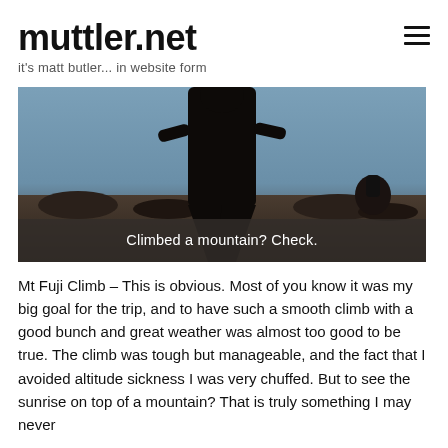muttler.net
it's matt butler... in website form
[Figure (photo): Dark silhouette of a person standing on a mountain summit against a blue-grey twilight sky, with rocky terrain visible below. Overlay caption reads: Climbed a mountain? Check.]
Climbed a mountain? Check.
Mt Fuji Climb – This is obvious. Most of you know it was my big goal for the trip, and to have such a smooth climb with a good bunch and great weather was almost too good to be true. The climb was tough but manageable, and the fact that I avoided altitude sickness I was very chuffed. But to see the sunrise on top of a mountain? That is truly something I may never